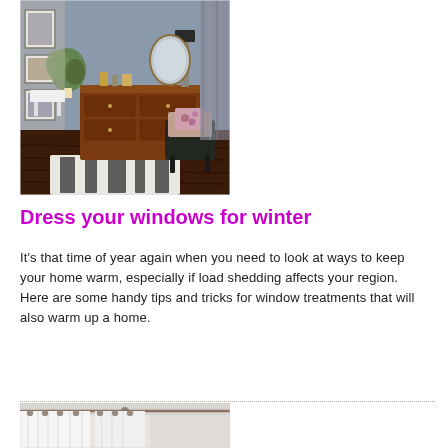[Figure (photo): Interior room with a wooden dresser, a dark chair with a floral pillow, decorative items on the dresser, framed artwork on walls, a mirror, and a white bench visible in background through doorway. Zebra-print rug on dark wood floor.]
Dress your windows for winter
It's that time of year again when you need to look at ways to keep your home warm, especially if load shedding affects your region. Here are some handy tips and tricks for window treatments that will also warm up a home.
[Figure (photo): White curtains hanging from a curtain rod near a ceiling, partially cropped at bottom of page.]